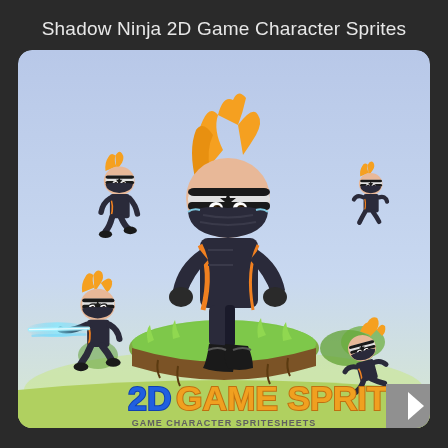Shadow Ninja 2D Game Character Sprites
[Figure (illustration): 2D game character sprite sheet showing a chibi-style ninja character with orange/blonde hair, black outfit with orange accents, wearing a headband with a star. The main large character stands on a floating grass platform in the center. Surrounding it are 4 smaller sprites showing different animations: running (top left and top right), attacking with a glowing blue weapon (bottom left), and sliding/falling (bottom right). Background has a light blue sky gradient with green ground. Text at bottom reads '2D GAME SPRITES' with subtitle 'GAME CHARACTER SPRITESHEETS'.]